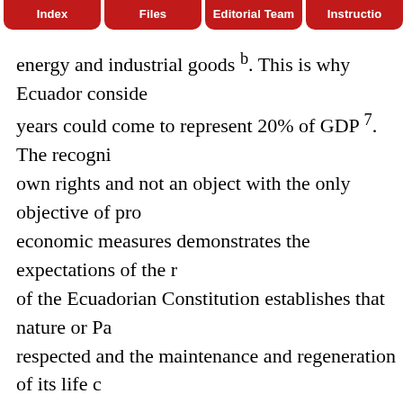Index | Files | Editorial Team | Instructions
energy and industrial goods b. This is why Ecuador conside years could come to represent 20% of GDP 7. The recogni own rights and not an object with the only objective of pro economic measures demonstrates the expectations of the r of the Ecuadorian Constitution establishes that nature or Pa respected and the maintenance and regeneration of its life c 8. In addition, in article 414 the Ecuadorian State undertake the mitigation of climate change 8. Nevertheless, the intro mean limiting the actions of the State to prohibit and conse policies that convert the vast biodiversity into a competitiv Like other Latin America countries, the model to generate technological knowledge is expected to satisfy Ecuador's n For example, there is a project called "Bijaoplatos desecha bijao and banana leaves to produce disposable dishes of ra